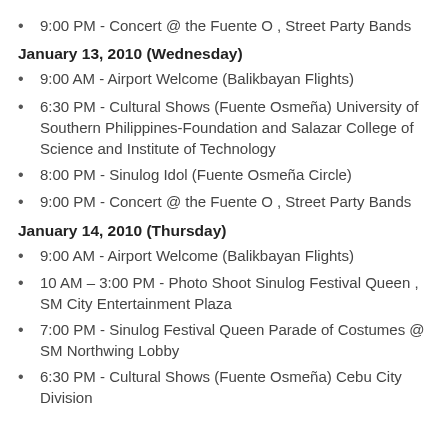9:00 PM - Concert @ the Fuente O , Street Party Bands
January 13, 2010 (Wednesday)
9:00 AM - Airport Welcome (Balikbayan Flights)
6:30 PM - Cultural Shows (Fuente Osmeña) University of Southern Philippines-Foundation and Salazar College of Science and Institute of Technology
8:00 PM - Sinulog Idol (Fuente Osmeña Circle)
9:00 PM - Concert @ the Fuente O , Street Party Bands
January 14, 2010 (Thursday)
9:00 AM - Airport Welcome (Balikbayan Flights)
10 AM – 3:00 PM - Photo Shoot Sinulog Festival Queen , SM City Entertainment Plaza
7:00 PM - Sinulog Festival Queen Parade of Costumes @ SM Northwing Lobby
6:30 PM - Cultural Shows (Fuente Osmeña) Cebu City Division